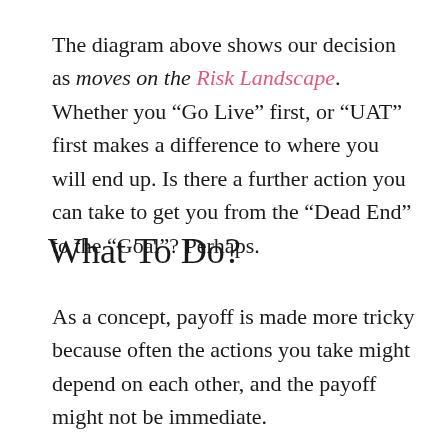The diagram above shows our decision as moves on the Risk Landscape. Whether you "Go Live" first, or "UAT" first makes a difference to where you will end up. Is there a further action you can take to get you from the "Dead End" to the "Goal"? Perhaps.
What To Do?
As a concept, payoff is made more tricky because often the actions you take might depend on each other, and the payoff might not be immediate.